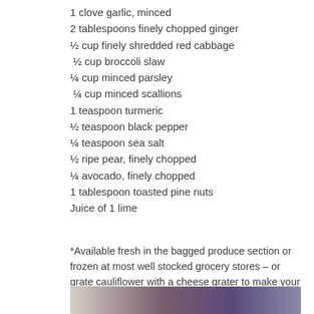1 clove garlic, minced
2 tablespoons finely chopped ginger
½ cup finely shredded red cabbage
½ cup broccoli slaw
¼ cup minced parsley
¼ cup minced scallions
1 teaspoon turmeric
½ teaspoon black pepper
¼ teaspoon sea salt
½ ripe pear, finely chopped
¼ avocado, finely chopped
1 tablespoon toasted pine nuts
Juice of 1 lime
*Available fresh in the bagged produce section or frozen at most well stocked grocery stores – or grate cauliflower with a cheese grater to make your own.
[Figure (photo): Photo of ingredients including white cauliflower rice, red cabbage, and purple vegetables on a surface]